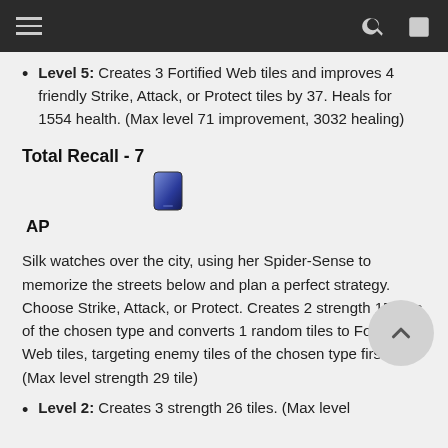Navigation header bar with hamburger menu, search and login icons
Level 5: Creates 3 Fortified Web tiles and improves 4 friendly Strike, Attack, or Protect tiles by 37. Heals for 1554 health. (Max level 71 improvement, 3032 healing)
Total Recall - 7
[Figure (illustration): Blue/dark mobile phone or tablet icon]
AP
Silk watches over the city, using her Spider-Sense to memorize the streets below and plan a perfect strategy. Choose Strike, Attack, or Protect. Creates 2 strength 15 tiles of the chosen type and converts 1 random tiles to Fortified Web tiles, targeting enemy tiles of the chosen type first. (Max level strength 29 tile)
Level 2: Creates 3 strength 26 tiles. (Max level